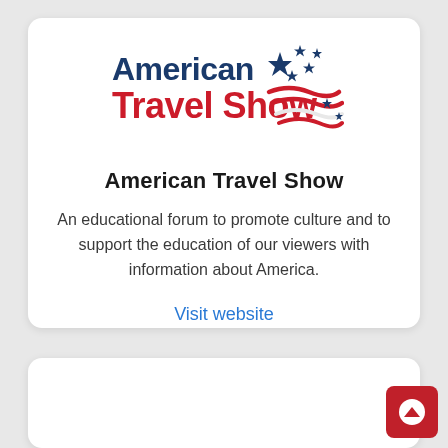[Figure (logo): American Travel Show logo with dark blue text 'American' and red text 'Travel Show', decorated with blue stars and red/white wavy stripes on the right side]
American Travel Show
An educational forum to promote culture and to support the education of our viewers with information about America.
Visit website